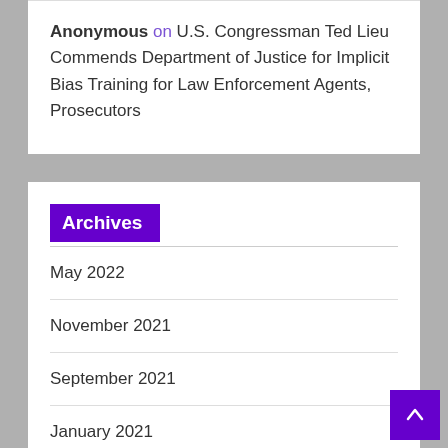Anonymous on U.S. Congressman Ted Lieu Commends Department of Justice for Implicit Bias Training for Law Enforcement Agents, Prosecutors
Archives
May 2022
November 2021
September 2021
January 2021